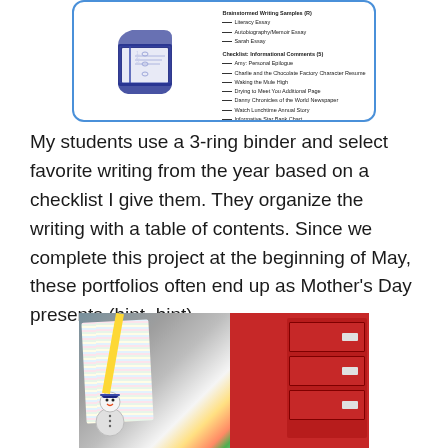[Figure (illustration): A document page showing a 3-ring binder illustration on the left and a checklist/form on the right, enclosed in a blue rounded border]
My students use a 3-ring binder and select favorite writing from the year based on a checklist I give them. They organize the writing with a table of contents. Since we complete this project at the beginning of May, these portfolios often end up as Mother's Day presents (hint, hint).
[Figure (photo): A photograph of stacked student portfolios/binders on a shelf next to a red drawer unit, with colorful papers and a snowman decoration visible]